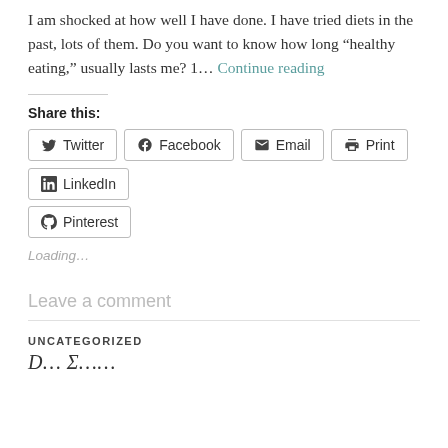I am shocked at how well I have done. I have tried diets in the past, lots of them. Do you want to know how long “healthy eating,” usually lasts me? 1… Continue reading
Share this:
Twitter Facebook Email Print LinkedIn Pinterest
Loading…
Leave a comment
UNCATEGORIZED
D… Σ……